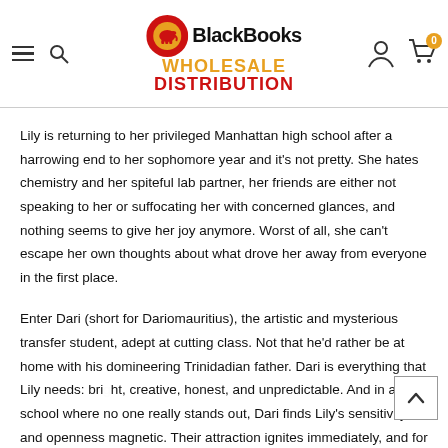BlackBooks WHOLESALE DISTRIBUTION
Lily is returning to her privileged Manhattan high school after a harrowing end to her sophomore year and it's not pretty. She hates chemistry and her spiteful lab partner, her friends are either not speaking to her or suffocating her with concerned glances, and nothing seems to give her joy anymore. Worst of all, she can't escape her own thoughts about what drove her away from everyone in the first place.
Enter Dari (short for Dariomauritius), the artistic and mysterious transfer student, adept at cutting class. Not that he'd rather be at home with his domineering Trinidadian father. Dari is everything that Lily needs: bright, creative, honest, and unpredictable. And in a school where no one really stands out, Dari finds Lily's sensitivity and openness magnetic. Their attraction ignites immediately, and for the first time in what feels like